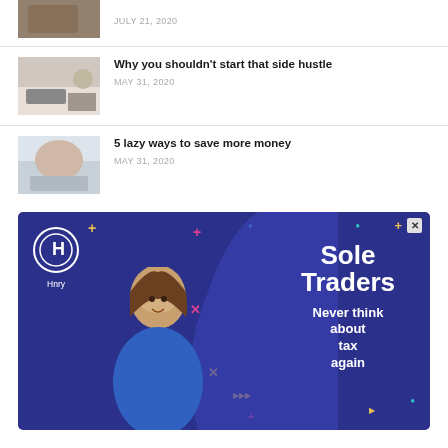[Figure (photo): Partial thumbnail of article image at top]
JULY 21, 2020
[Figure (photo): Person working on laptop with coffee cup]
Why you shouldn't start that side hustle
MAY 31, 2020
[Figure (photo): Person relaxing in bed]
5 lazy ways to save more money
MAY 31, 2020
[Figure (infographic): Hnry advertisement banner - Sole Traders: Never think about tax again]